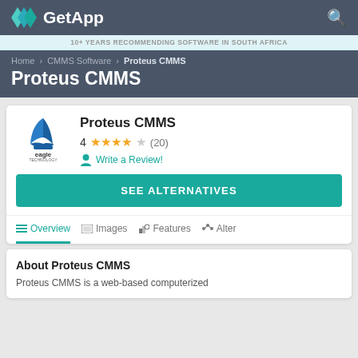GetApp
10+ YEARS RECOMMENDING SOFTWARE IN SOUTH AFRICA
Home › CMMS Software › Proteus CMMS
Proteus CMMS
[Figure (logo): Eagle Technology logo — blue sailing-ship icon above the word 'eagle technology']
Proteus CMMS
4 ★★★★☆ (20)
Write a Review!
SEE ALTERNATIVES
Overview   Images   Features   Alter
About Proteus CMMS
Proteus CMMS is a web-based computerized